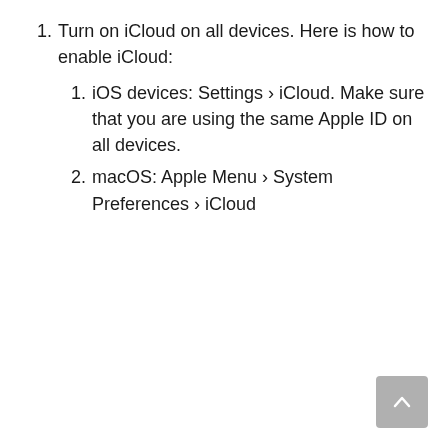Turn on iCloud on all devices. Here is how to enable iCloud:
iOS devices: Settings › iCloud. Make sure that you are using the same Apple ID on all devices.
macOS: Apple Menu › System Preferences › iCloud